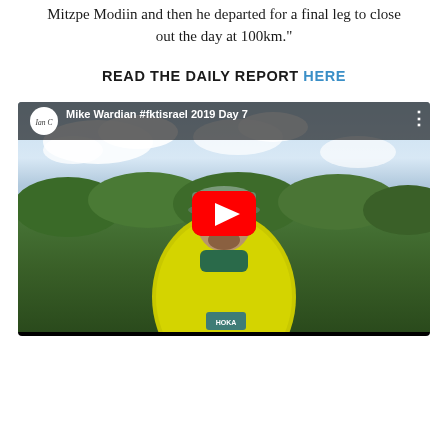Mitzpe Modiin and then he departed for a final leg to close out the day at 100km."
READ THE DAILY REPORT HERE
[Figure (screenshot): YouTube video thumbnail showing Mike Wardian #fktisrael 2019 Day 7. A man in a neon yellow shirt and cap is shown outdoors with green trees and cloudy blue sky in the background. A red YouTube play button is overlaid in the center. The video is from channel IanCorless.]